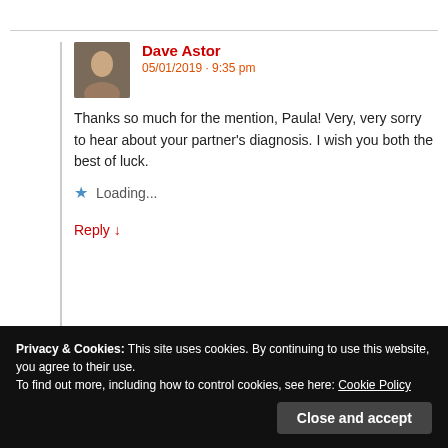Dave Astor
05/01/2019 · 9:35 pm
Thanks so much for the mention, Paula! Very, very sorry to hear about your partner's diagnosis. I wish you both the best of luck.
Loading...
Reply ↓
Paula Bardell-Hedley
Privacy & Cookies: This site uses cookies. By continuing to use this website, you agree to their use.
To find out more, including how to control cookies, see here: Cookie Policy
Close and accept